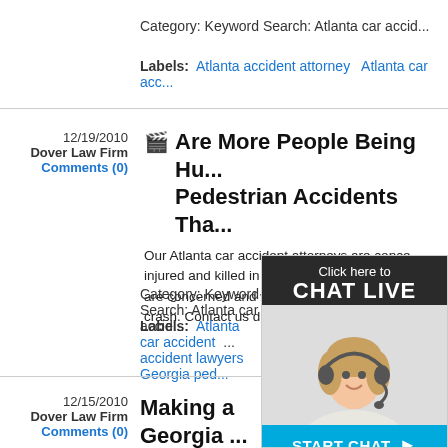Category: Keyword Search: Atlanta car acc...
Labels: Atlanta accident attorney   Atlanta car acc...
12/19/2010
Dover Law Firm
Comments (0)
Are More People Being Hu... Pedestrian Accidents Tha...
Our Atlanta car accident attorneys are conce... injured and killed in Georgia pedestrian accid... are concerned and what to do if you have be... crash. Contact us directly at 770.518.1133 o...
Category: Keyword Search: Atlanta car accid...
Labels: Atlanta car accident   ...accident lawyers   Georgia ped...
12/15/2010
Dover Law Firm
Comments (0)
Making a Georgia ...
What happens when your c... you deserve after a car acc...
[Figure (screenshot): Chat live widget overlay with dark header 'Click here to CHAT LIVE', photo of woman with headset, and blue START CHAT button]